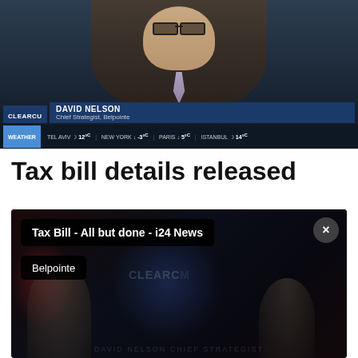[Figure (screenshot): Television broadcast screenshot showing David Nelson, Chief Strategist at Belpointe, on i24 News. Lower-third chyron reads 'DAVID NELSON / Chief Strategist, Belpointe'. Weather ticker at bottom shows TEL AVIV 12°C, NEW YORK -3°C, PARIS 5°C, ISTANBUL 14°C.]
Tax bill details released
[Figure (screenshot): Video thumbnail screenshot showing a dark broadcast scene with overlay text boxes: 'Tax Bill - All but done - i24 News' and 'Belpointe'. A close button (X) appears in the upper right.]